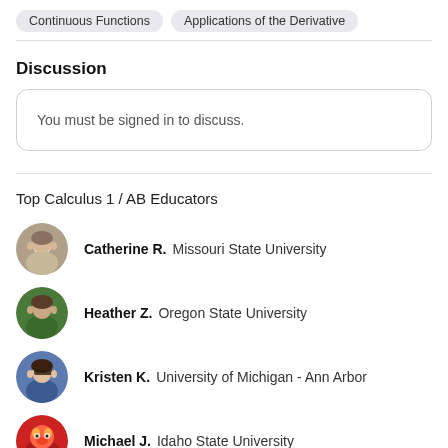Continuous Functions
Applications of the Derivative
Discussion
You must be signed in to discuss.
Top Calculus 1 / AB Educators
Catherine R.   Missouri State University
Heather Z.   Oregon State University
Kristen K.   University of Michigan - Ann Arbor
Michael J.   Idaho State University